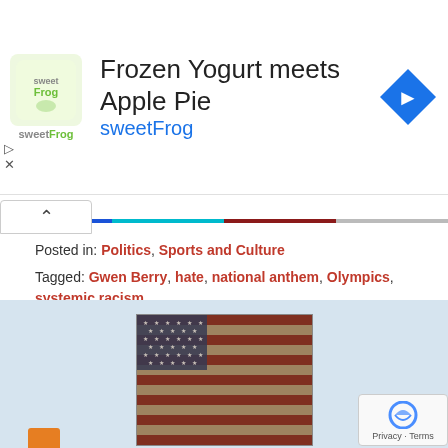[Figure (screenshot): sweetFrog advertisement banner: 'Frozen Yogurt meets Apple Pie / sweetFrog' with logo and blue arrow icon]
Posted in: Politics, Sports and Culture
Tagged: Gwen Berry, hate, national anthem, Olympics, systemic racism
[Figure (photo): Vintage-style American flag photo, close-up with stars and stripes, reddish-brown tones]
Ben Bowles
Ben Bowles is a freelance writer and regular contributor to "Liberty Unyielding."